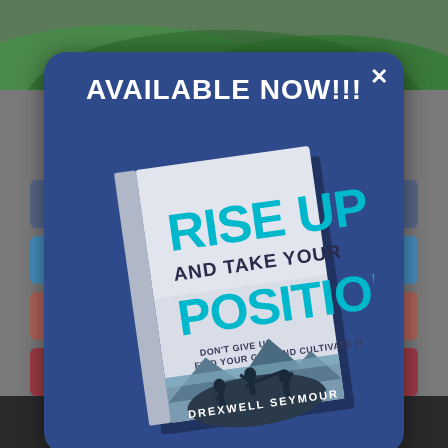[Figure (screenshot): Screenshot of a webpage with a modal popup advertising the book 'Rise Up and Take Your Position' by Drexwell Seymour, with a 'Share This' bar at the bottom and social sharing buttons in the background.]
AVAILABLE NOW!!!
[Figure (illustration): Book cover of 'Rise Up and Take Your Position' by Drexwell Seymour. Title in large cyan letters, subtitle 'And Take Your' in dark, 'Don't Give Up, Find Your Gift and Cultivate It' in smaller text, image of three silhouetted figures on a hilltop with mountains in background.]
Share This